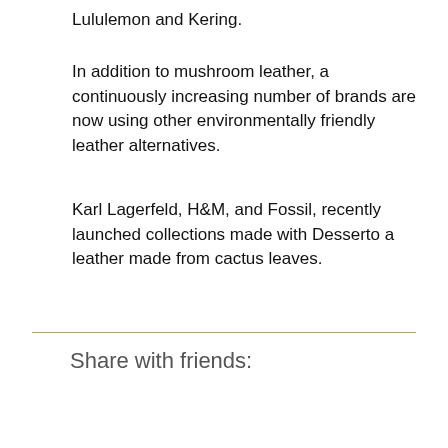Lululemon and Kering.
In addition to mushroom leather, a continuously increasing number of brands are now using other environmentally friendly leather alternatives.
Karl Lagerfeld, H&M, and Fossil, recently launched collections made with Desserto a leather made from cactus leaves.
Share with friends:
[Figure (infographic): Social media share buttons: Facebook, Twitter, Pinterest, LinkedIn, Telegram (row 1); Reddit, WhatsApp, Email (row 2, partially visible)]